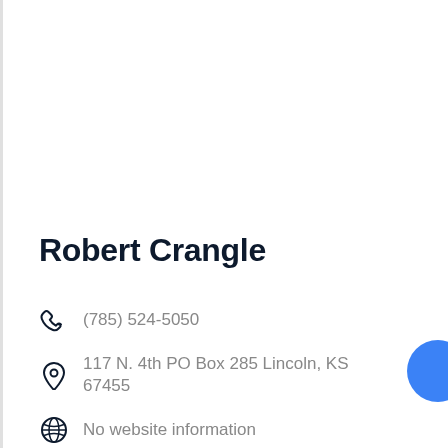Robert Crangle
(785) 524-5050
117 N. 4th PO Box 285 Lincoln, KS 67455
No website information
Agricultural, Administrative, Business and Real Estate